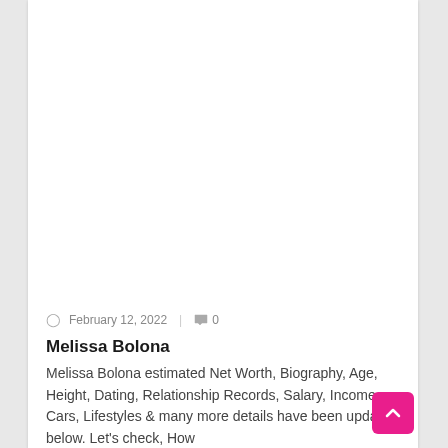[Figure (photo): Large white/blank image placeholder area at top of article card]
February 12, 2022  |  💬 0
Melissa Bolona
Melissa Bolona estimated Net Worth, Biography, Age, Height, Dating, Relationship Records, Salary, Income, Cars, Lifestyles & many more details have been updated below. Let's check, How